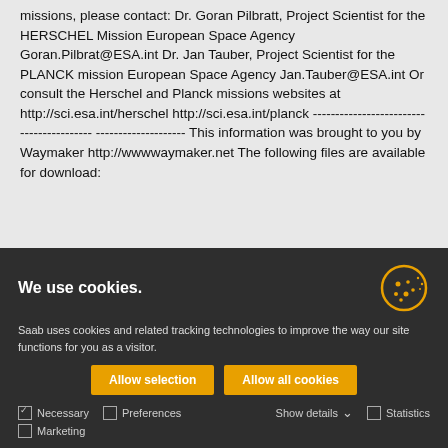missions, please contact: Dr. Goran Pilbratt, Project Scientist for the HERSCHEL Mission European Space Agency Goran.Pilbrat@ESA.int Dr. Jan Tauber, Project Scientist for the PLANCK mission European Space Agency Jan.Tauber@ESA.int Or consult the Herschel and Planck missions websites at http://sci.esa.int/herschel http://sci.esa.int/planck --------------------------------------------------------- This information was brought to you by Waymaker http://wwwwaymaker.net The following files are available for download:
We use cookies.
Saab uses cookies and related tracking technologies to improve the way our site functions for you as a visitor.
Allow selection
Allow all cookies
Necessary  Preferences  Statistics  Marketing  Show details